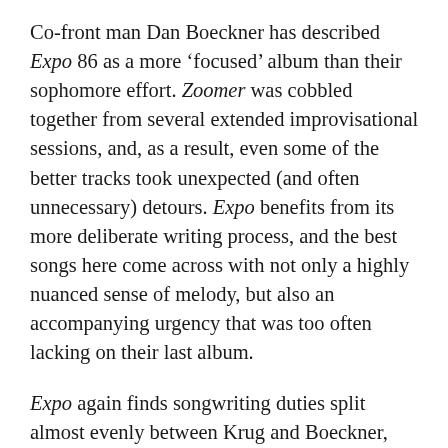Co-front man Dan Boeckner has described Expo 86 as a more ‘focused’ album than their sophomore effort. Zoomer was cobbled together from several extended improvisational sessions, and, as a result, even some of the better tracks took unexpected (and often unnecessary) detours. Expo benefits from its more deliberate writing process, and the best songs here come across with not only a highly nuanced sense of melody, but also an accompanying urgency that was too often lacking on their last album.
Expo again finds songwriting duties split almost evenly between Krug and Boeckner, and while Boeckner is definitely the more reliable horse to bet on this time, it’s Krug who delivers the most transcendent moments. From the spectacular call-and-response interplay between the guitars on